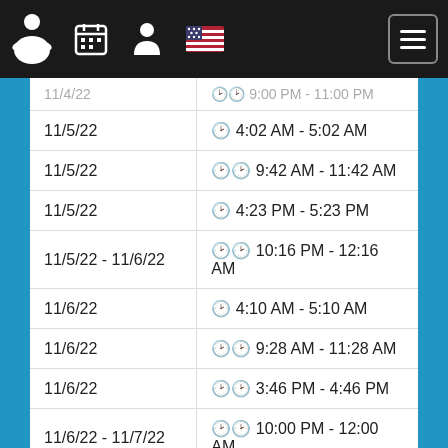App header with navigation icons and menu button
| Date | Time |
| --- | --- |
| 11/4/22 | 🕐 9:00 PM - 11:00 PM |
| 11/5/22 | 🕐 4:02 AM - 5:02 AM |
| 11/5/22 | 🕑🕑 9:42 AM - 11:42 AM |
| 11/5/22 | 🕐 4:23 PM - 5:23 PM |
| 11/5/22 - 11/6/22 | 🕑🕑 10:16 PM - 12:16 AM |
| 11/6/22 | 🕐 4:10 AM - 5:10 AM |
| 11/6/22 | 🕑🕑 9:28 AM - 11:28 AM |
| 11/6/22 | 🕑🕑 3:46 PM - 4:46 PM |
| 11/6/22 - 11/7/22 | 🕑🕑 10:00 PM - 12:00 AM |
| 11/7/22 | 🕑🕑 5:15 AM - 6:15 AM |
| 11/7/22 | 🕑🕑🕑 10:13 AM - 12:13 PM |
| 11/7/22 | 🕑🕑🕑 4:11 PM - 5:11 PM |